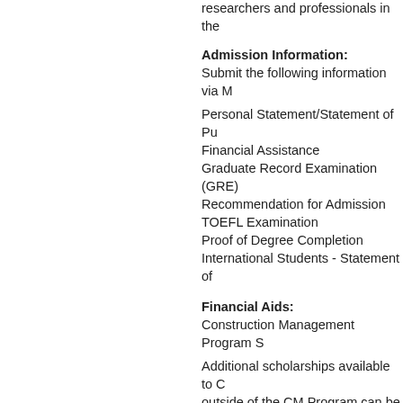researchers and professionals in the
Admission Information:
Submit the following information via M
Personal Statement/Statement of Pu
Financial Assistance
Graduate Record Examination (GRE)
Recommendation for Admission
TOEFL Examination
Proof of Degree Completion
International Students - Statement of
Financial Aids:
Construction Management Program S
Additional scholarships available to C outside of the CM Program can be fo
Construction Management alumni, pr for CM scholarships. Scholarship am purposes, i.e., tuition, books, room an
Scholarships Available:
Curtis M. Beachum Scholarship
Thomas H. Burkhardt Scholarship
Brenda M. Campbell Memorial Schola
R. William Clark Scholarship
Alexander W. Cron Memorial Scholar
Edward Gavin Scholarship
Greater Lansing Home Builders & Me